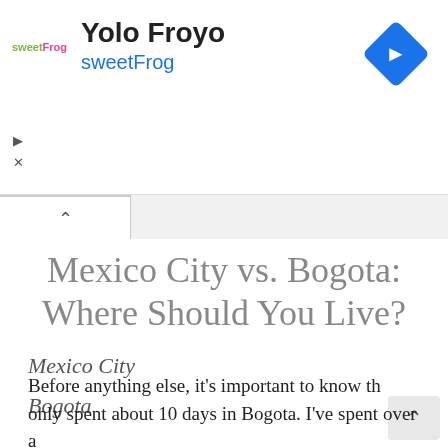[Figure (logo): sweetFrog yogurt brand logo with pink and green text]
Yolo Froyo
sweetFrog
[Figure (other): Blue diamond-shaped navigation/directions icon with white right arrow]
Mexico City vs. Bogota: Where Should You Live?
Mexico City
Bogota
Before anything else, it's important to know th  only spent about 10 days in Bogota. I've spent over a